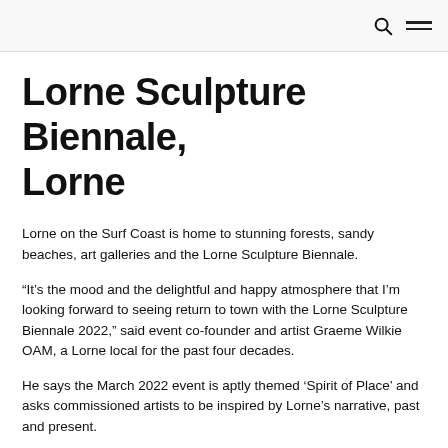[search icon] [menu icon]
Lorne Sculpture Biennale, Lorne
Lorne on the Surf Coast is home to stunning forests, sandy beaches, art galleries and the Lorne Sculpture Biennale.
“It’s the mood and the delightful and happy atmosphere that I’m looking forward to seeing return to town with the Lorne Sculpture Biennale 2022,” said event co-founder and artist Graeme Wilkie OAM, a Lorne local for the past four decades.
He says the March 2022 event is aptly themed ‘Spirit of Place’ and asks commissioned artists to be inspired by Lorne’s narrative, past and present.
While many couldn’t leave their ‘place’ during COVID restrictions, and may have yearned for places as beautiful as